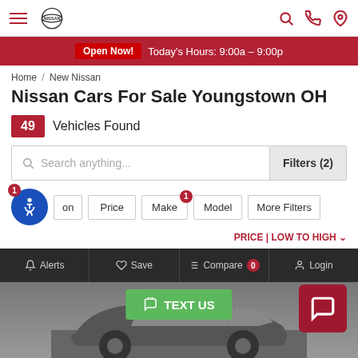Nissan dealership navigation bar with hamburger menu, Nissan logo, search, phone, and location icons
Open Now! Today's Hours: 9:00a – 9:00p
Home / New Nissan
Nissan Cars For Sale Youngstown OH
49 Vehicles Found
Search anything...
Filters (2)
Condition Price Make Model More Filters
PRICE | LOW TO HIGH
Alerts  Save  Compare 0  Login